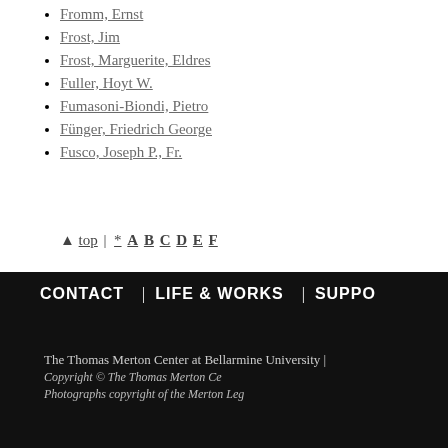Fromm, Ernst
Frost, Jim
Frost, Marguerite, Eldres
Fuller, Hoyt W.
Fumasoni-Biondi, Pietro
Fünger, Friedrich George
Fusco, Joseph P., Fr.
▲ top | * A B C D E F
CONTACT | LIFE & WORKS | SUPPORT
The Thomas Merton Center at Bellarmine University |
Copyright © The Thomas Merton Ce...
Photographs copyright of the Merton Leg...